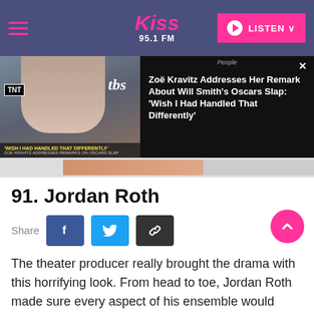Kiss 95.1 FM — LISTEN
[Figure (screenshot): News banner showing Zoë Kravitz with text: Zoë Kravitz Addresses Her Remark About Will Smith's Oscars Slap: 'Wish I Had Handled That Differently']
91. Jordan Roth
The theater producer really brought the drama with this horrifying look. From head to toe, Jordan Roth made sure every aspect of his ensemble would terrify the masses.